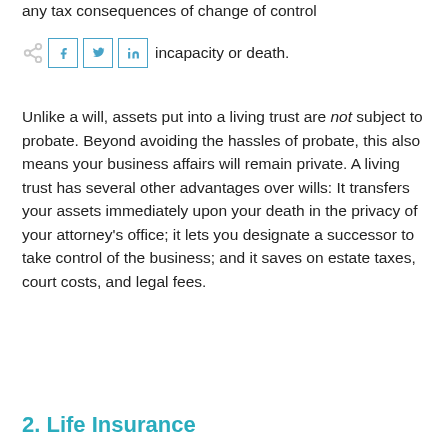any tax consequences of change of control or incapacity or death.
Unlike a will, assets put into a living trust are not subject to probate. Beyond avoiding the hassles of probate, this also means your business affairs will remain private. A living trust has several other advantages over wills: It transfers your assets immediately upon your death in the privacy of your attorney's office; it lets you designate a successor to take control of the business; and it saves on estate taxes, court costs, and legal fees.
2. Life Insurance